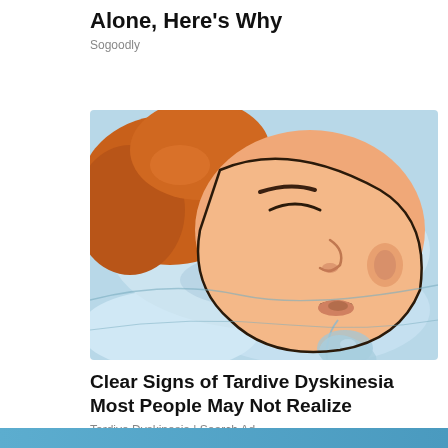Alone, Here's Why
Sogoodly
[Figure (illustration): Cartoon illustration of a person sleeping on their side on a light blue pillow, drooling, depicted in a comic/animated style with warm skin tones and orange hair.]
Clear Signs of Tardive Dyskinesia Most People May Not Realize
Tardive Dyskinesia | Search Ad